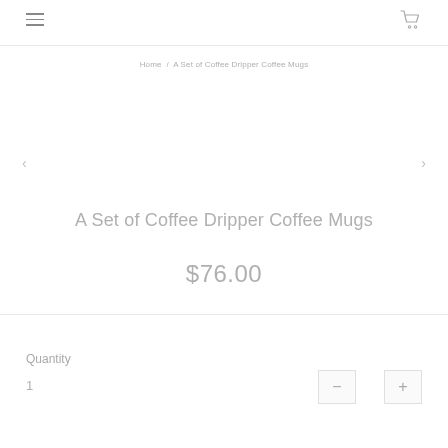≡  🛒
Home / A Set of Coffee Dripper Coffee Mugs
A Set of Coffee Dripper Coffee Mugs
$76.00
Quantity
1